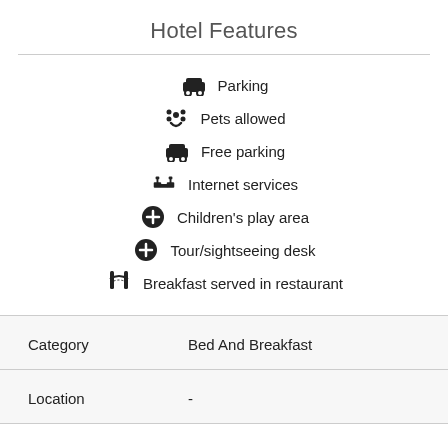Hotel Features
Parking
Pets allowed
Free parking
Internet services
Children's play area
Tour/sightseeing desk
Breakfast served in restaurant
| Category | Bed And Breakfast |
| --- | --- |
| Location | - |
Category   Bed And Breakfast
Location   -